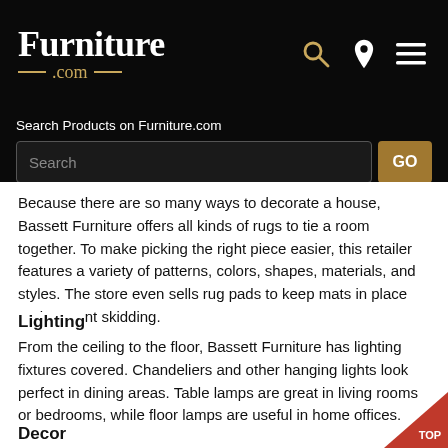Furniture.com
Search Products on Furniture.com
Because there are so many ways to decorate a house, Bassett Furniture offers all kinds of rugs to tie a room together. To make picking the right piece easier, this retailer features a variety of patterns, colors, shapes, materials, and styles. The store even sells rug pads to keep mats in place and prevent skidding.
Lighting
From the ceiling to the floor, Bassett Furniture has lighting fixtures covered. Chandeliers and other hanging lights look perfect in dining areas. Table lamps are great in living rooms or bedrooms, while floor lamps are useful in home offices.
Decor